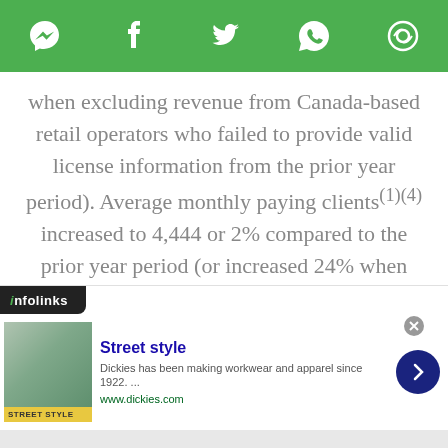[Figure (other): Green social share bar with icons for Messenger, Facebook, Twitter, WhatsApp, and a share/copy icon]
when excluding revenue from Canada-based retail operators who failed to provide valid license information from the prior year period). Average monthly paying clients(1)(4) increased to 4,444 or 2% compared to the prior year period (or increased 24% when excluding Canada-based retail operators who failed to provide valid license information from the prior-year period).
[Figure (other): Infolinks advertisement banner: Street style - Dickies has been making workwear and apparel since 1922. www.dickies.com]